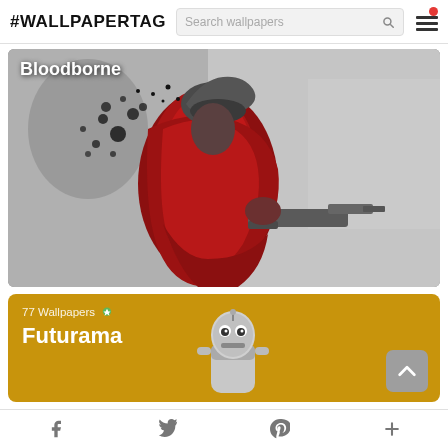#WALLPAPERTAG
[Figure (illustration): Bloodborne game character in red coat with gun, splattered in blood on grey background]
[Figure (illustration): Futurama card with golden/yellow background showing Bender robot character, 77 Wallpapers count, and scroll-to-top button]
Social share icons: Facebook, Twitter, Pinterest, Plus